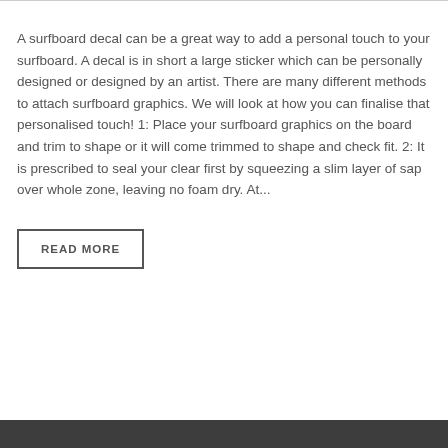A surfboard decal can be a great way to add a personal touch to your surfboard. A decal is in short a large sticker which can be personally designed or designed by an artist. There are many different methods to attach surfboard graphics. We will look at how you can finalise that personalised touch! 1: Place your surfboard graphics on the board and trim to shape or it will come trimmed to shape and check fit. 2: It is prescribed to seal your clear first by squeezing a slim layer of sap over whole zone, leaving no foam dry. At...
READ MORE